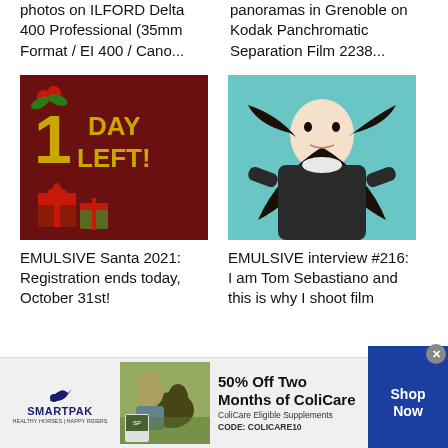photos on ILFORD Delta 400 Professional (35mm Format / EI 400 / Cano...
panoramas in Grenoble on Kodak Panchromatic Separation Film 2238...
[Figure (photo): Dark red background with '1 DAY LEFT!' text in gold, gift boxes with red ribbon at bottom]
[Figure (photo): Overhead view of a woman with long dark hair lying on a teal/blue surface]
EMULSIVE Santa 2021: Registration ends today, October 31st!
EMULSIVE interview #216: I am Tom Sebastiano and this is why I shoot film
[Figure (photo): SmartPak advertisement: horse and rider photo, 50% Off Two Months of ColiCare, ColiCare Eligible Supplements, CODE: COLICARE10, Shop Now button]